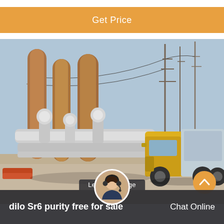Get Price
[Figure (photo): Electrical substation with large SF6 gas-insulated high-voltage equipment (tall cylindrical bushings/insulators), power transmission towers and lines in background, and a yellow utility/service truck parked in the foreground right side. Outdoor industrial setting, clear sky.]
Leave Message
dilo Sr6 purity free for sale
Chat Online